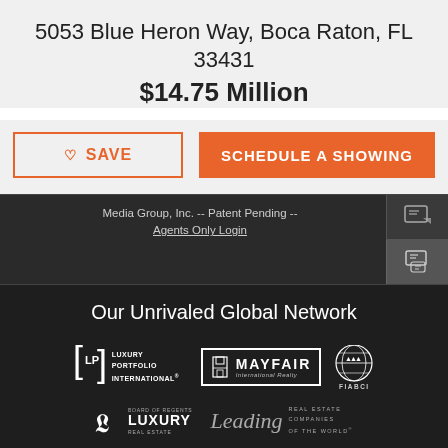5053 Blue Heron Way, Boca Raton, FL 33431
$14.75 Million
SAVE
SCHEDULE A SHOWING
Media Group, Inc. -- Patent Pending -- Agents Only Login
Our Unrivaled Global Network
[Figure (logo): Luxury Portfolio International logo]
[Figure (logo): Mayfair International Realty logo]
[Figure (logo): FIABCI logo]
[Figure (logo): Board of Regents Luxury Real Estate logo]
[Figure (logo): Leading Real Estate Companies of the World logo]